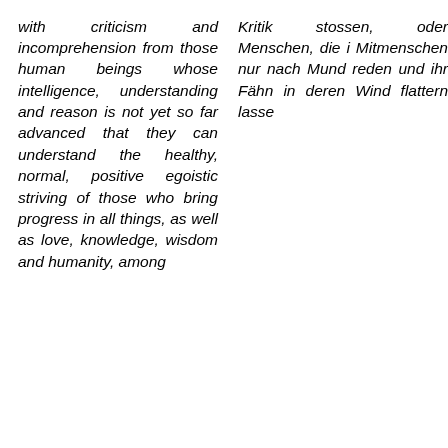with criticism and incomprehension from those human beings whose intelligence, understanding and reason is not yet so far advanced that they can understand the healthy, normal, positive egoistic striving of those who bring progress in all things, as well as love, knowledge, wisdom and humanity, among
Kritik stossen, oder Menschen, die i Mitmenschen nur nach Mund reden und ihr Fähn in deren Wind flattern lasse